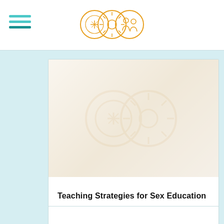Navigation header with hamburger menu and logo
[Figure (illustration): Faded decorative illustration in card background]
Teaching Strategies for Sex Education
[Figure (illustration): Second content card partially visible at bottom]